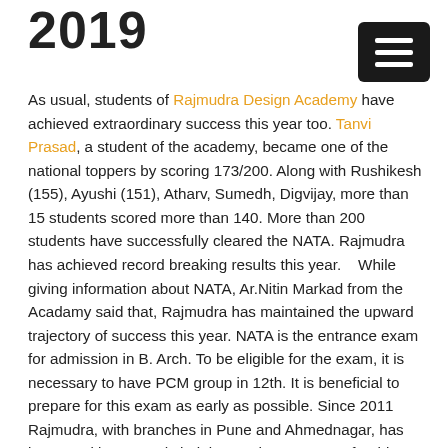2019
As usual, students of Rajmudra Design Academy have achieved extraordinary success this year too. Tanvi Prasad, a student of the academy, became one of the national toppers by scoring 173/200. Along with Rushikesh (155), Ayushi (151), Atharv, Sumedh, Digvijay, more than 15 students scored more than 140. More than 200 students have successfully cleared the NATA. Rajmudra has achieved record breaking results this year.    While giving information about NATA, Ar.Nitin Markad from the Acadamy said that, Rajmudra has maintained the upward trajectory of success this year. NATA is the entrance exam for admission in B. Arch. To be eligible for the exam, it is necessary to have PCM group in 12th. It is beneficial to prepare for this exam as early as possible. Since 2011 Rajmudra, with branches in Pune and Ahmednagar, has been working towards helping students prepare for this specialized exam.Architecture is a glamorous career attracting students of the new generation. It encourages your creativity. As a career architecture is becoming a right and new direction. To become an architect, one must